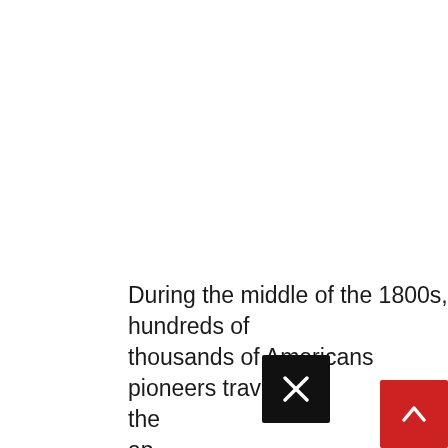During the middle of the 1800s, hundreds of thousands of Americans pioneers traveled the ap Inc Or we tra wh Wy